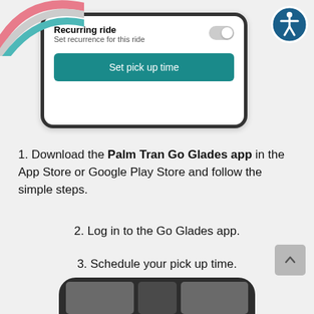[Figure (screenshot): Mobile app screenshot showing 'Recurring ride' toggle and 'Set pick up time' teal button, with decorative colored arcs top-left and accessibility icon top-right.]
1. Download the Palm Tran Go Glades app in the App Store or Google Play Store and follow the simple steps.
2. Log in to the Go Glades app.
3. Schedule your pick up time.
[Figure (screenshot): Partial bottom of a dark phone mockup showing app interface.]